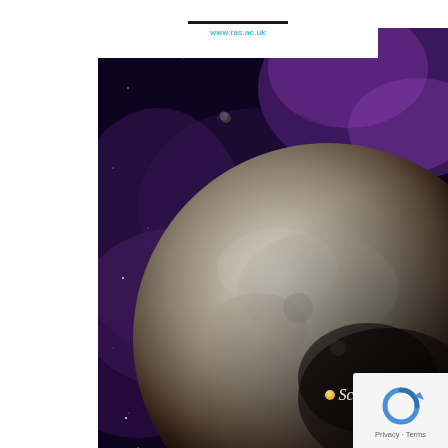[Figure (logo): RAS logo area with horizontal bar and website URL www.ras.ac.uk on white background header]
www.ras.ac.uk
[Figure (photo): Space scene showing a large planet resembling Pluto against a dark purple nebula background with stars. A small moon or planet is visible in the upper area.]
[Figure (logo): Scientia logo with gold dot and italic serif text 'Scientia']
[Figure (other): Google reCAPTCHA privacy badge with blue circular arrow icon and Privacy - Terms text]